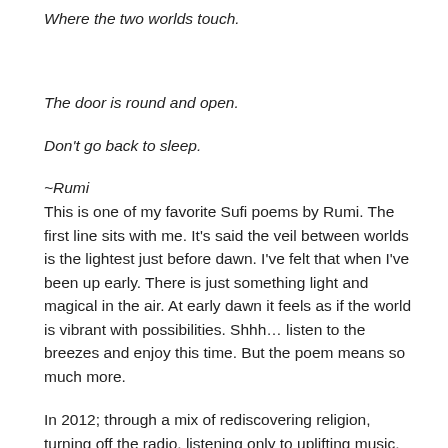Where the two worlds touch.
The door is round and open.
Don't go back to sleep.
~Rumi
This is one of my favorite Sufi poems by Rumi. The first line sits with me. It's said the veil between worlds is the lightest just before dawn. I've felt that when I've been up early. There is just something light and magical in the air. At early dawn it feels as if the world is vibrant with possibilities. Shhh… listen to the breezes and enjoy this time. But the poem means so much more.
In 2012; through a mix of rediscovering religion, turning off the radio, listening only to uplifting music, and